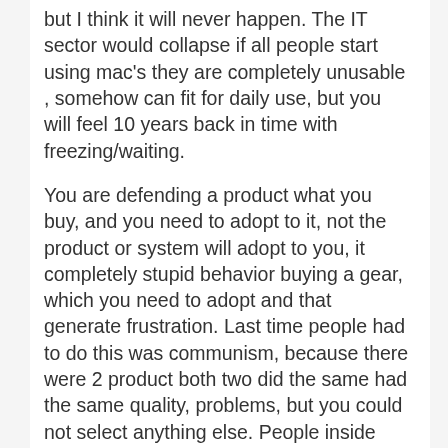but I think it will never happen. The IT sector would collapse if all people start using mac's they are completely unusable , somehow can fit for daily use, but you will feel 10 years back in time with freezing/waiting.
You are defending a product what you buy, and you need to adopt to it, not the product or system will adopt to you, it completely stupid behavior buying a gear, which you need to adopt and that generate frustration. Last time people had to do this was communism, because there were 2 product both two did the same had the same quality, problems, but you could not select anything else. People inside force themselves to buy a product which overpriced , useless , and they need to adopt to it, well go out and shout loud PLEASE RAPE ME, well clever people don't do this, clever people don't buy macs....